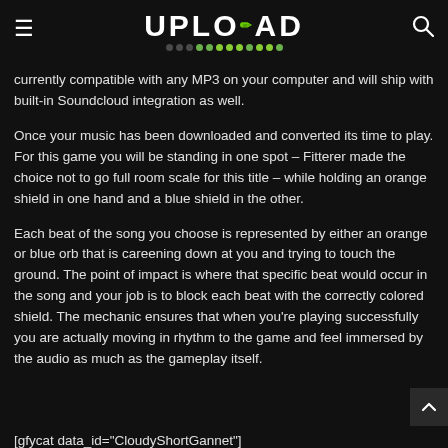UPLOAD
currently compatible with any MP3 on your computer and will ship with built-in Soundcloud integration as well.
Once your music has been downloaded and converted its time to play. For this game you will be standing in one spot – Fitterer made the choice not to go full room scale for this title – while holding an orange shield in one hand and a blue shield in the other.
Each beat of the song you choose is represented by either an orange or blue orb that is careening down at you and trying to touch the ground. The point of impact is where that specific beat would occur in the song and your job is to block each beat with the correctly colored shield. The mechanic ensures that when you're playing successfully you are actually moving in rhythm to the game and feel immersed by the audio as much as the gameplay itself.
[gfycat data_id="CloudyShortGannet"]